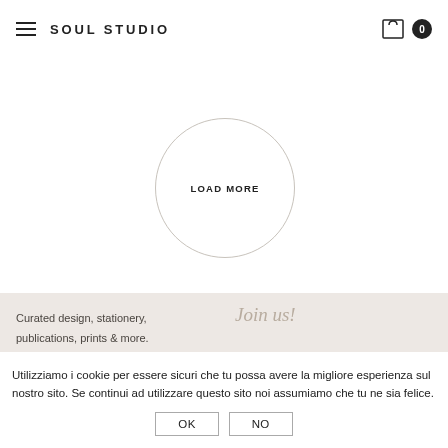SOUL STUDIO
[Figure (other): Circular 'LOAD MORE' button with thin border]
Curated design, stationery, publications, prints & more.
Join us!
Utilizziamo i cookie per essere sicuri che tu possa avere la migliore esperienza sul nostro sito. Se continui ad utilizzare questo sito noi assumiamo che tu ne sia felice.
OK   NO